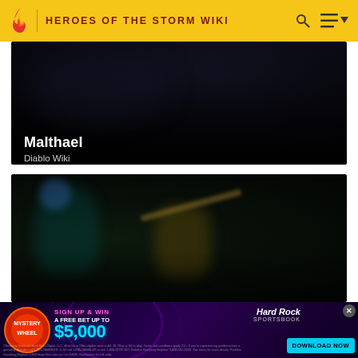HEROES OF THE STORM WIKI
[Figure (screenshot): Dark game screenshot with Malthael character, dark atmospheric background]
Malthael
Diablo Wiki
[Figure (screenshot): Game screenshot showing two fantasy characters in combat on dark rocky terrain]
[Figure (advertisement): Hard Rock Sportsbook advertisement - Mystery Wheel, Sign Up & Win A Free Bet Up To $5,000, Download Now button]